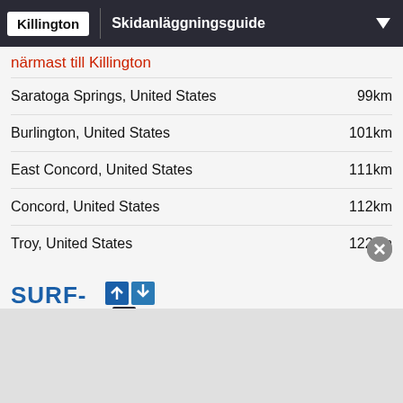Killington | Skidanläggningsguide
närmast till Killington
Saratoga Springs, United States   99km
Burlington, United States   101km
East Concord, United States   111km
Concord, United States   112km
Troy, United States   122km
[Figure (logo): SURF-forecast.com logo with blue/dark squares and arrows]
Surf breaks
närmast Killington
Costellos, United States   180km
Fox Hill Point, United States   180km